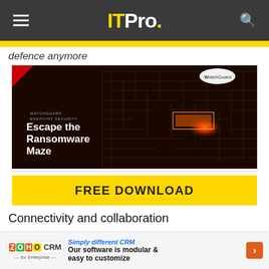IT Pro.
defence anymore
[Figure (illustration): WatchGuard Endpoint Security advertisement image showing a maze with orange glow in the center and text 'Escape the Ransomware Maze']
FREE DOWNLOAD
Connectivity and collaboration
ZOHO CRM Simply different CRM Our software is modular & easy to customize